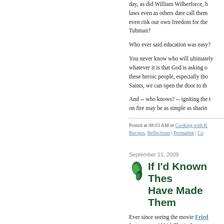day, as did William Wilberforce, b... laws even as others dare call them... even risk our own freedom for the... Tubman?
Who ever said education was easy?
You never know who will ultimately... whatever it is that God is asking o... these heroic people, especially tho... Saints, we can open the door to th...
And -- who knows? -- igniting the t... on fire may be as simple as sharin...
Posted at 08:03 AM in Cooking with K... Recipes, Reflections | Permalink | Co...
September 11, 2009
If I'd Known Thes... Have Made Them...
Ever since seeing the movie Fried... long ago as 1991? That's the yea... course I've been curious.
I'm a born Yankee, though, and on... we don't eat that stuff around here... were a "kind" of tomato -- like a G...